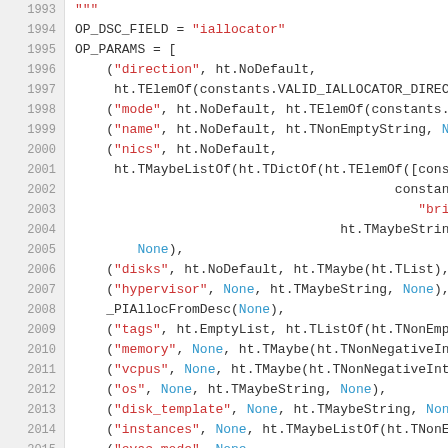[Figure (screenshot): Source code listing showing Python code with line numbers 1993-2017. Code defines OP_DSC_FIELD and OP_PARAMS for an iallocator operation with various parameter definitions including direction, mode, name, nics, disks, hypervisor, tags, memory, vcpus, os, disk_template, instances, evac_mode, and target_groups.]